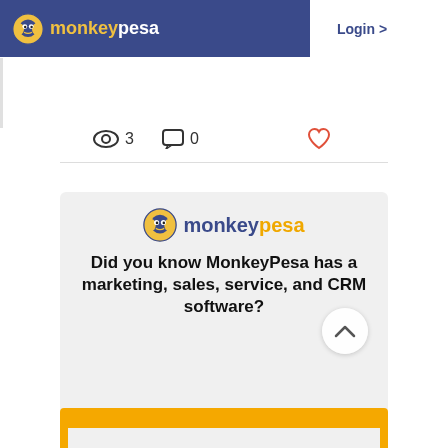[Figure (screenshot): MonkeyPesa website navigation bar with logo, Login button, and hamburger menu on dark blue background]
[Figure (screenshot): Social interaction stats row showing eye/views icon with 3, comment icon with 0, and heart/like icon in red]
[Figure (screenshot): Carousel dots indicator with first dot active (blue) and two grey dots]
[Figure (screenshot): MonkeyPesa promotional card on light grey background with logo and text: Did you know MonkeyPesa has a marketing, sales, service, and CRM software?]
[Figure (screenshot): Bottom yellow/orange strip with white inner area, partially visible]